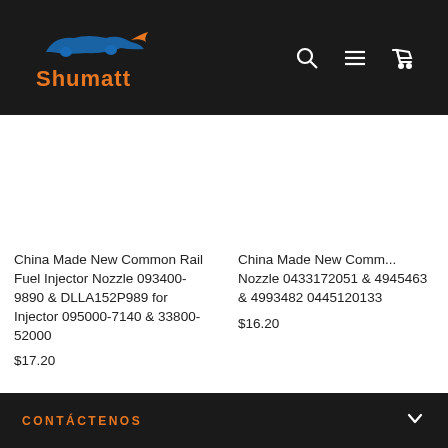Shumatt
China Made New Common Rail Fuel Injector Nozzle 093400-9890 & DLLA152P989 for Injector 095000-7140 & 33800-52000
$17.20
China Made New Common Rail Fuel Injector Nozzle 0433172051 & 4945463 & 4993482 & 0445120133
$16.20
CONTÁCTENOS